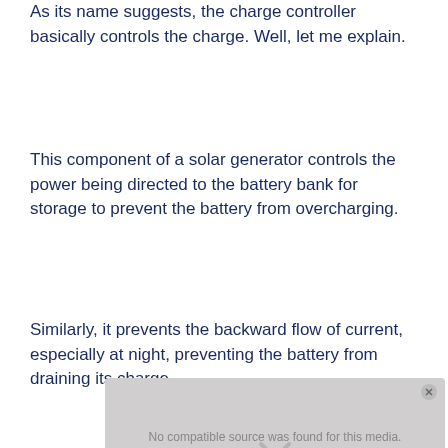As its name suggests, the charge controller basically controls the charge. Well, let me explain.
This component of a solar generator controls the power being directed to the battery bank for storage to prevent the battery from overcharging.
Similarly, it prevents the backward flow of current, especially at night, preventing the battery from draining its charge.
[Figure (screenshot): Video player overlay showing 'No compatible source was found for this media.' with a close button and an X mark at the bottom.]